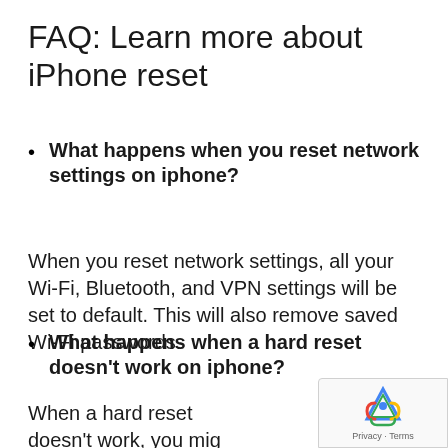FAQ: Learn more about iPhone reset
What happens when you reset network settings on iphone?
When you reset network settings, all your Wi-Fi, Bluetooth, and VPN settings will be set to default. This will also remove saved Wi-Fi passwords.
What happens when a hard reset doesn't work on iphone?
When a hard reset doesn't work, you might need to hold the buttons pressed for longer or use the iPhone data recovery software to...